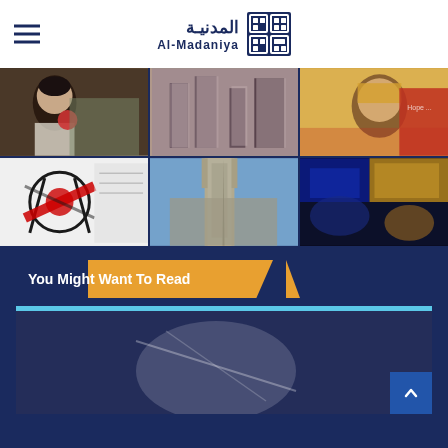Al-Madaniya / المدنيـة
[Figure (photo): 3x2 grid of six photos: top-left woman at desk with flower, top-center abstract city with chromatic aberration, top-right woman in yellow hijab at event, bottom-left protest art with skull and red X, bottom-center stone minaret tower from below, bottom-right colorful abstract art in blue/yellow/black]
You Might Want To Read
[Figure (photo): Article preview image showing people working, overlaid with dark blue tint and a cyan top bar]